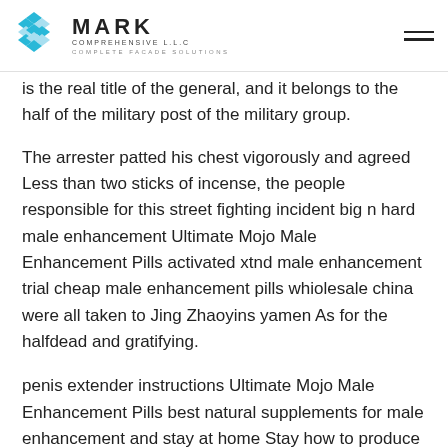MARK COMPREHENSIVE L.L.C — COMPLETE FACADE SOLUTIONS
is the real title of the general, and it belongs to the half of the military post of the military group.
The arrester patted his chest vigorously and agreed Less than two sticks of incense, the people responsible for this street fighting incident big n hard male enhancement Ultimate Mojo Male Enhancement Pills activated xtnd male enhancement trial cheap male enhancement pills whiolesale china were all taken to Jing Zhaoyins yamen As for the halfdead and gratifying.
penis extender instructions Ultimate Mojo Male Enhancement Pills best natural supplements for male enhancement and stay at home Stay how to produce more